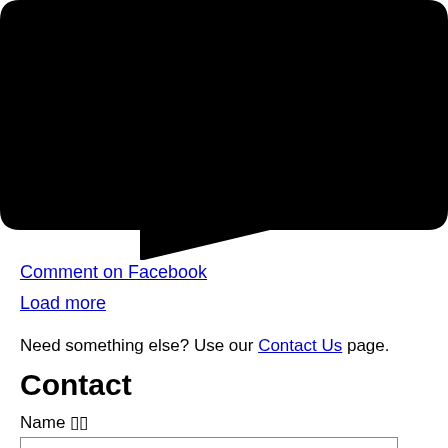[Figure (illustration): Large black speech bubble / chat bubble shape with a tail pointing downward-left, on white background]
Comment on Facebook
Load more
Need something else? Use our Contact Us page.
Contact
Name 🔲🔲
Email 🔲🔲